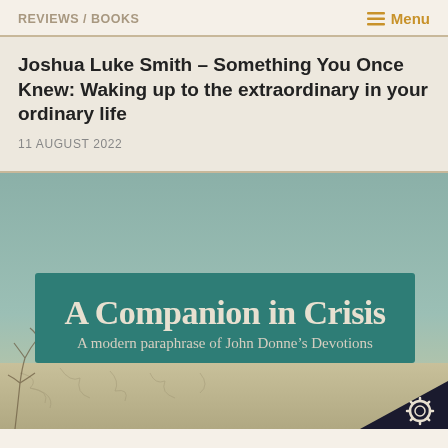REVIEWS / BOOKS  ≡ Menu
Joshua Luke Smith – Something You Once Knew: Waking up to the extraordinary in your ordinary life
11 AUGUST 2022
[Figure (illustration): Book cover of 'A Companion in Crisis: A modern paraphrase of John Donne's Devotions'. Teal/green sky background with a teal banner containing white serif text. Bottom portion shows cracked earth/ground with bare tree branches visible at lower left. A gear/cog icon appears in the lower right corner on a dark navy background triangle.]